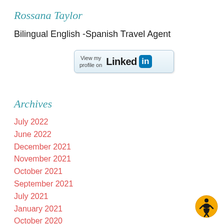Rossana Taylor
Bilingual English -Spanish Travel Agent
[Figure (other): LinkedIn profile button with 'View my profile on Linked in' text and LinkedIn logo]
Archives
July 2022
June 2022
December 2021
November 2021
October 2021
September 2021
July 2021
January 2021
October 2020
August 2020
March 2020
February 2020